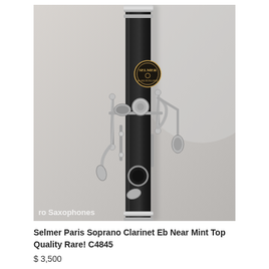[Figure (photo): Close-up photograph of a Selmer Paris Soprano Clarinet Eb, showing the black body with silver-colored keys and mechanisms, with the Selmer brand logo visible on the body. The instrument is photographed against a light gray background. A watermark reading 'ro Saxophones' appears at the bottom left of the image.]
Selmer Paris Soprano Clarinet Eb Near Mint Top Quality Rare! C4845
$ 3,500